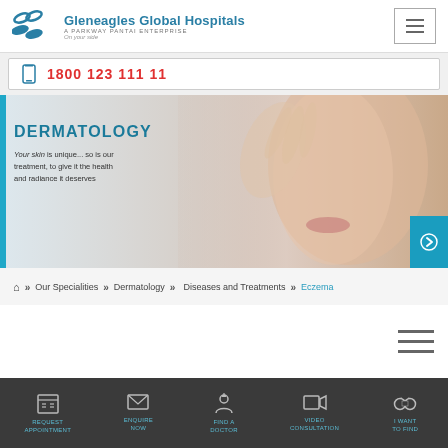[Figure (logo): Gleneagles Global Hospitals logo with Parkway Pantai enterprise tagline]
1800 123 111 11
[Figure (photo): Dermatology hero banner with woman touching her face, teal accent bar on left]
DERMATOLOGY
Your skin is unique... so is our treatment, to give it the health and radiance it deserves
Our Specialities >> Dermatology >> Diseases and Treatments >> Eczema
REQUEST APPOINTMENT | ENQUIRE NOW | FIND A DOCTOR | VIDEO CONSULTATION | I WANT TO FIND